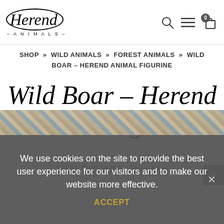[Figure (logo): Herend Animals script logo in oval shape with '- ANIMALS -' text below]
SHOP » WILD ANIMALS » FOREST ANIMALS » WILD BOAR – HEREND ANIMAL FIGURINE
Wild Boar – Herend Animal Figurine
15507-0-00 VHFB - Navy Blue
We use cookies on the site to provide the best user experience for our visitors and to make our website more effective. ACCEPT